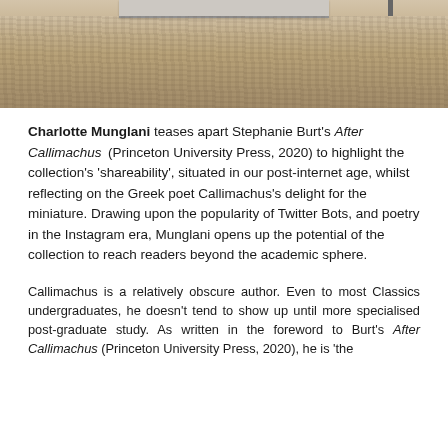[Figure (photo): A photograph showing a textured carpet or rug surface in beige/tan tones, with what appears to be a table or furniture edge visible at the top of the image.]
Charlotte Munglani teases apart Stephanie Burt's After Callimachus (Princeton University Press, 2020) to highlight the collection's 'shareability', situated in our post-internet age, whilst reflecting on the Greek poet Callimachus's delight for the miniature. Drawing upon the popularity of Twitter Bots, and poetry in the Instagram era, Munglani opens up the potential of the collection to reach readers beyond the academic sphere.
Callimachus is a relatively obscure author. Even to most Classics undergraduates, he doesn't tend to show up until more specialised post-graduate study. As written in the foreword to Burt's After Callimachus (Princeton University Press, 2020), he is 'the